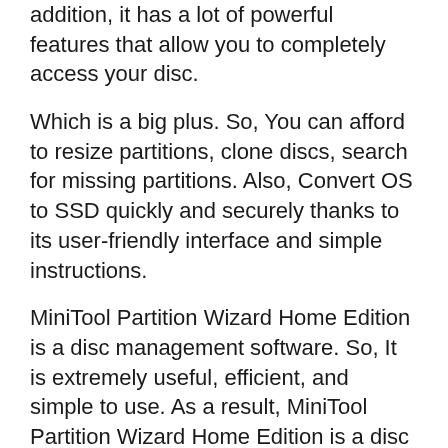addition, it has a lot of powerful features that allow you to completely access your disc.
Which is a big plus. So, You can afford to resize partitions, clone discs, search for missing partitions. Also, Convert OS to SSD quickly and securely thanks to its user-friendly interface and simple instructions.
MiniTool Partition Wizard Home Edition is a disc management software. So, It is extremely useful, efficient, and simple to use. As a result, MiniTool Partition Wizard Home Edition is a disc partition management software. That can help you maximize your disc use and secure your files.
MiniTool Partition